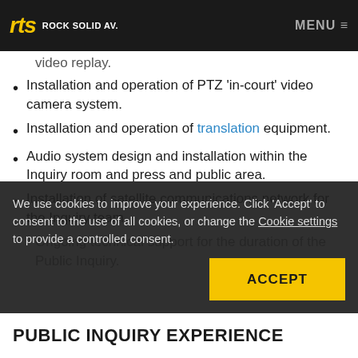rts ROCK SOLID AV. | MENU
audio signals and presentation equipment. installation of video screens for the presentation of court proceedings, electronic evidence and video replay.
Installation and operation of PTZ 'in-court' video camera system.
Installation and operation of translation equipment.
Audio system design and installation within the Inquiry room and press and public area.
Installation of satellite communications network for the Inquiry team.
Ongoing technical support for the duration of the Public Inquiry.
We use cookies to improve your experience. Click 'Accept' to consent to the use of all cookies, or change the Cookie settings to provide a controlled consent.
PUBLIC INQUIRY EXPERIENCE